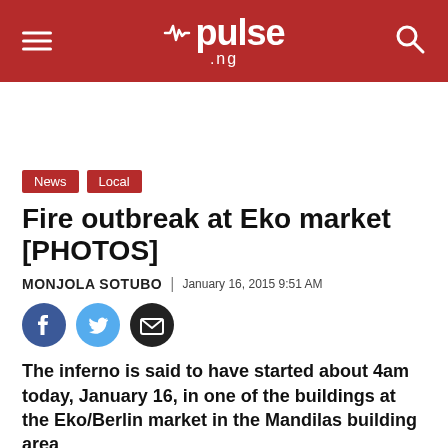pulse.ng
Fire outbreak at Eko market [PHOTOS]
MONJOLA SOTUBO | January 16, 2015 9:51 AM
[Figure (other): Social share icons: Facebook, Twitter, Email]
The inferno is said to have started about 4am today, January 16, in one of the buildings at the Eko/Berlin market in the Mandilas building area